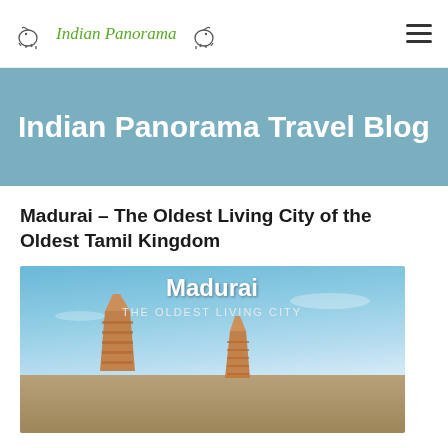Indian Panorama
Indian Panorama Travel Blog
Madurai – The Oldest Living City of the Oldest Tamil Kingdom
[Figure (photo): Photo of Madurai with text overlay reading 'Madurai THE OLDEST LIVING CITY' showing temple gopurams against a blue sky]